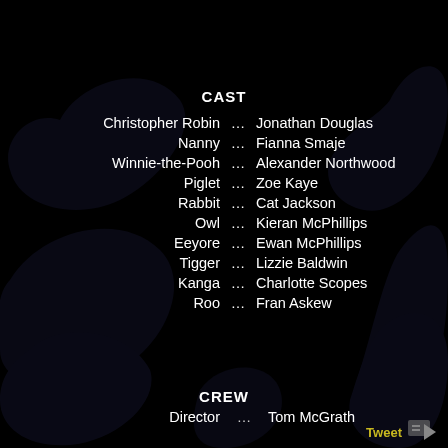CAST
Christopher Robin ... Jonathan Douglas
Nanny ... Fianna Smaje
Winnie-the-Pooh ... Alexander Northwood
Piglet ... Zoe Kaye
Rabbit ... Cat Jackson
Owl ... Kieran McPhillips
Eeyore ... Ewan McPhillips
Tigger ... Lizzie Baldwin
Kanga ... Charlotte Scopes
Roo ... Fran Askew
CREW
Director ... Tom McGrath
Tweet